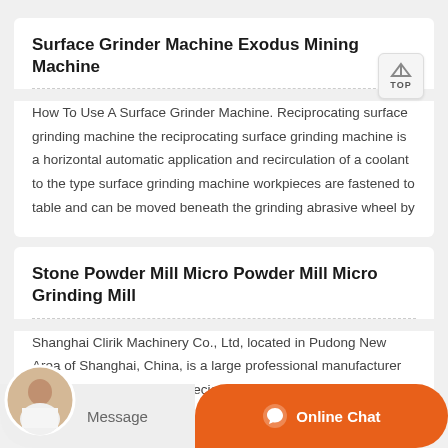Surface Grinder Machine Exodus Mining Machine
How To Use A Surface Grinder Machine. Reciprocating surface grinding machine the reciprocating surface grinding machine is a horizontal automatic application and recirculation of a coolant to the type surface grinding machine workpieces are fastened to table and can be moved beneath the grinding abrasive wheel by
Stone Powder Mill Micro Powder Mill Micro Grinding Mill
Shanghai Clirik Machinery Co., Ltd, located in Pudong New Area of Shanghai, China, is a large professional manufacturer with import export rights specializing in research, manufacture and sales of